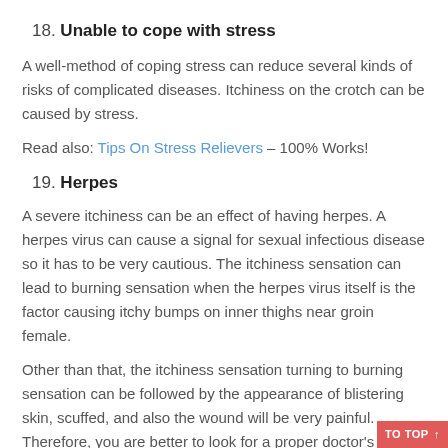18. Unable to cope with stress
A well-method of coping stress can reduce several kinds of risks of complicated diseases. Itchiness on the crotch can be caused by stress.
Read also: Tips On Stress Relievers – 100% Works!
19. Herpes
A severe itchiness can be an effect of having herpes. A herpes virus can cause a signal for sexual infectious disease so it has to be very cautious. The itchiness sensation can lead to burning sensation when the herpes virus itself is the factor causing itchy bumps on inner thighs near groin female.
Other than that, the itchiness sensation turning to burning sensation can be followed by the appearance of blistering skin, scuffed, and also the wound will be very painful. Therefore, you are better to look for a proper doctor's treatment if the diagnose of the itchiness is truly caused by herpes. The treatment taken properly can reduce the risks of sexual infectious diseases to your couple.